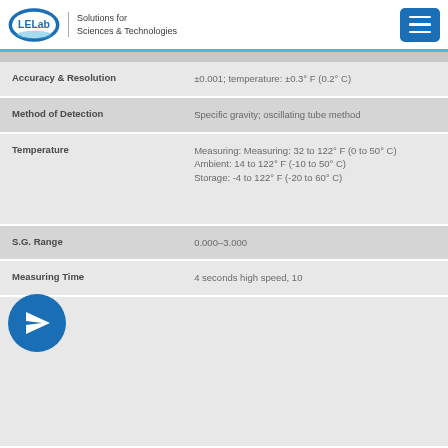LELab Solutions for Sciences & Technologies
| Property | Value |
| --- | --- |
| Accuracy & Resolution | ±0.001; temperature: ±0.3° F (0.2° C) |
| Method of Detection | Specific gravity; oscillating tube method |
| Temperature | Measuring: Measuring: 32 to 122° F (0 to 50° C)
Ambient: 14 to 122° F (-10 to 50° C)
Storage: -4 to 122° F (-20 to 60° C) |
| S.G. Range | 0.000–3.000 |
| Measuring Time | 4 seconds high speed, 10 |